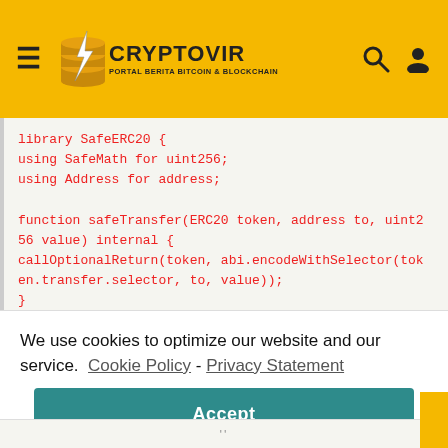CRYPTOVIR — PORTAL BERITA BITCOIN & BLOCKCHAIN
library SafeERC20 {
using SafeMath for uint256;
using Address for address;

function safeTransfer(ERC20 token, address to, uint256 value) internal {
callOptionalReturn(token, abi.encodeWithSelector(token.transfer.selector, to, value));
}
We use cookies to optimize our website and our service.  Cookie Policy - Privacy Statement
Accept